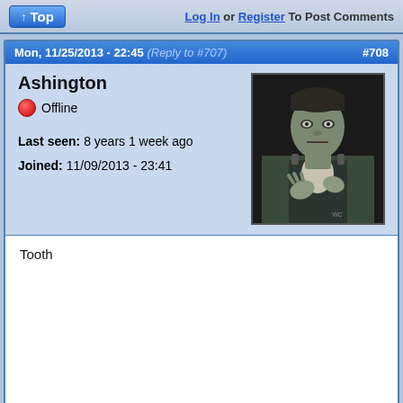↑ Top    Log In or Register To Post Comments
Mon, 11/25/2013 - 22:45 (Reply to #707)    #708
Ashington
🔴 Offline
Last seen: 8 years 1 week ago
Joined: 11/09/2013 - 23:41
[Figure (photo): Avatar image of Frankenstein's monster — a painted portrait showing the creature in a dark jacket with bolt on neck, hands raised]
Tooth